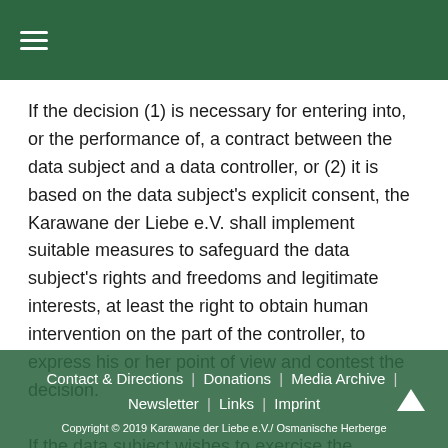≡
If the decision (1) is necessary for entering into, or the performance of, a contract between the data subject and a data controller, or (2) it is based on the data subject's explicit consent, the Karawane der Liebe e.V. shall implement suitable measures to safeguard the data subject's rights and freedoms and legitimate interests, at least the right to obtain human intervention on the part of the controller, to express his or her point of view and contest the decision. If the data subject wishes to exercise the
Contact & Directions | Donations | Media Archive | Newsletter | Links | Imprint
Copyright © 2019 Karawane der Liebe e.V./ Osmanische Herberge